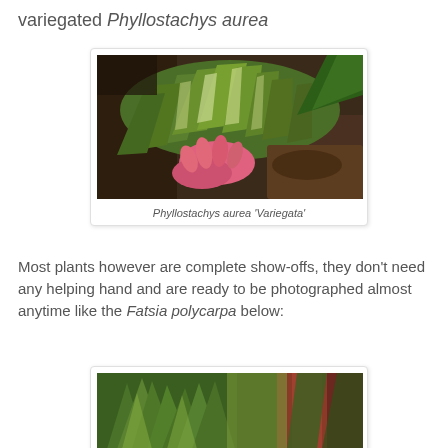variegated Phyllostachys aurea
[Figure (photo): Photo of variegated bamboo leaves (Phyllostachys aurea 'Variegata') with a pink-gloved hand holding the foliage, showing green and cream striped leaves against a dark background of soil and mulch.]
Phyllostachys aurea 'Variegata'
Most plants however are complete show-offs, they don't need any helping hand and are ready to be photographed almost anytime like the Fatsia polycarpa below:
[Figure (photo): Partial photo of Fatsia polycarpa plant with green spiky leaves and reddish stems visible at the bottom of the page.]